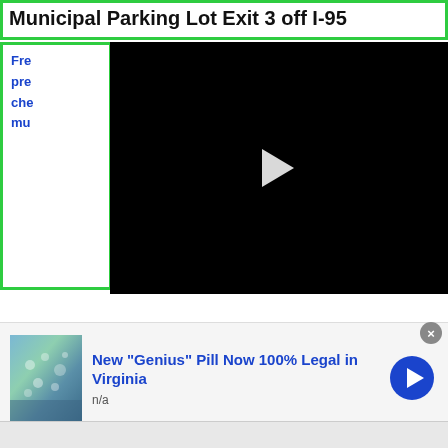Municipal Parking Lot Exit 3 off I-95
Fre...
pre...
che...
mu...
[Figure (screenshot): Black video player with white play button triangle in center]
[Figure (photo): Advertisement image showing blue/teal colored pills or granules held in a gloved hand]
New "Genius" Pill Now 100% Legal in Virginia
n/a